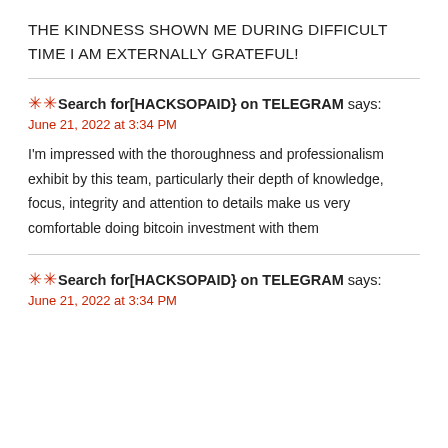THE KINDNESS SHOWN ME DURING DIFFICULT TIME I AM EXTERNALLY GRATEFUL!
🌟🌟 Search for[HACKSOPAID} on TELEGRAM says:
June 21, 2022 at 3:34 PM
I'm impressed with the thoroughness and professionalism exhibit by this team, particularly their depth of knowledge, focus, integrity and attention to details make us very comfortable doing bitcoin investment with them
🌟🌟 Search for[HACKSOPAID} on TELEGRAM says:
June 21, 2022 at 3:34 PM